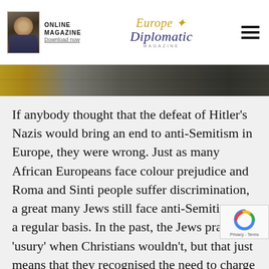ONLINE MAGAZINE Download now | Europe Diplomatic Magazine
[Figure (illustration): Banner strip with decorative imagery, olive/gold and dark tones]
If anybody thought that the defeat of Hitler’s Nazis would bring an end to anti-Semitism in Europe, they were wrong. Just as many African Europeans face colour prejudice and Roma and Sinti people suffer discrimination, a great many Jews still face anti-Semitism on a regular basis. In the past, the Jews practised ‘usury’ when Christians wouldn’t, but that just means that they recognised the need to charge ‘rent’ on money loaned while Christians (and Muslims) considered it a sin. Now, of course, the banks and finance houses do it and it is a practice